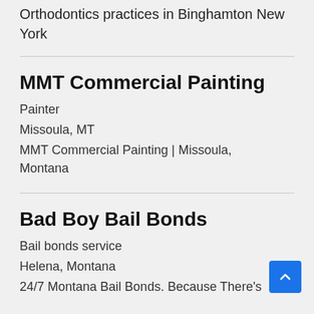Orthodontics practices in Binghamton New York
MMT Commercial Painting
Painter
Missoula, MT
MMT Commercial Painting | Missoula, Montana
Bad Boy Bail Bonds
Bail bonds service
Helena, Montana
24/7 Montana Bail Bonds. Because There's